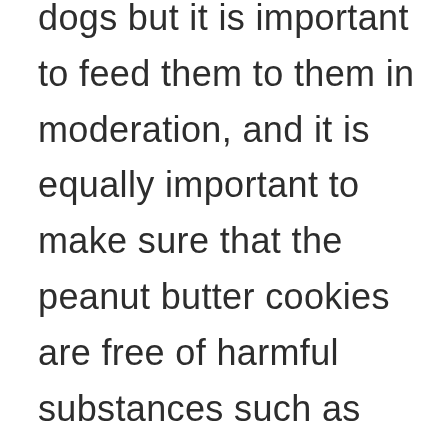dogs but it is important to feed them to them in moderation, and it is equally important to make sure that the peanut butter cookies are free of harmful substances such as chocolate. As you know, chocolate is very dangerous for our furry friends, so avoid giving them peanut butter cookies with chocolate, and make